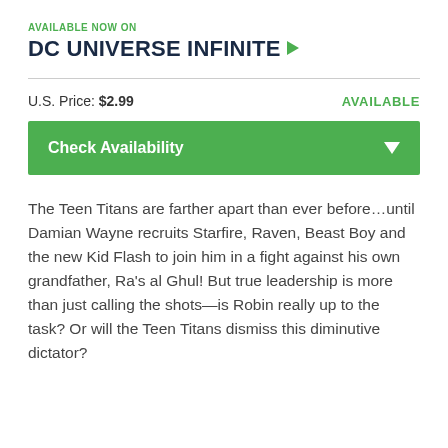AVAILABLE NOW ON
DC UNIVERSE INFINITE ▶
U.S. Price: $2.99    AVAILABLE
Check Availability
The Teen Titans are farther apart than ever before…until Damian Wayne recruits Starfire, Raven, Beast Boy and the new Kid Flash to join him in a fight against his own grandfather, Ra's al Ghul! But true leadership is more than just calling the shots—is Robin really up to the task? Or will the Teen Titans dismiss this diminutive dictator?